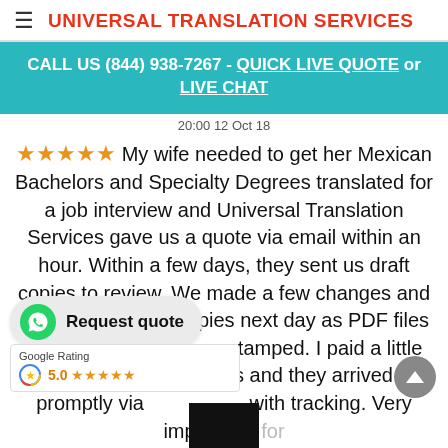≡ UNIVERSAL TRANSLATION SERVICES
CALL US (844) 938-7267 - QUICK LIVE QUOTE or LIVE CHAT
20:00 12 Oct 18
★★★★★ My wife needed to get her Mexican Bachelors and Specialty Degrees translated for a job interview and Universal Translation Services gave us a quote via email within an hour. Within a few days, they sent us draft copies to review. We made a few changes and they had the final copies next day as PDF files with their certifications stamped. I paid a little extra for …s and they arrived promptly via …with tracking. Very impressed for
[Figure (screenshot): WhatsApp Request quote button overlay]
[Figure (screenshot): Google Rating widget showing 5.0 stars]
[Figure (screenshot): Scroll-up arrow button (grey circle)]
[Figure (screenshot): Black rectangle at bottom center]